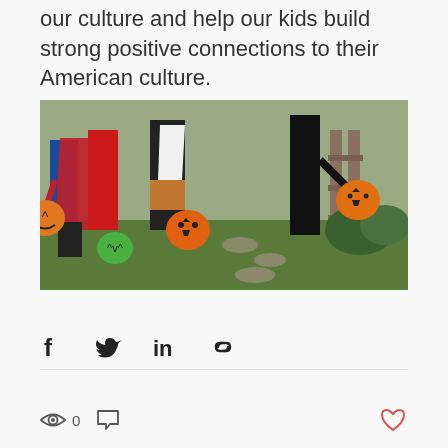our culture and help our kids build strong positive connections to their American culture.
[Figure (photo): Children in Halloween costumes trick-or-treating outdoors, holding pumpkin-shaped candy buckets in orange, green, and decorated styles. Kids wearing red cape, black and white bird costume, and other Halloween outfits on a grassy path.]
[Figure (infographic): Social sharing icons: Facebook, Twitter, LinkedIn, and link/chain icon]
[Figure (infographic): Post stats bar showing eye/views icon with count 0, comment bubble icon, and heart/like icon in red-pink on the right]